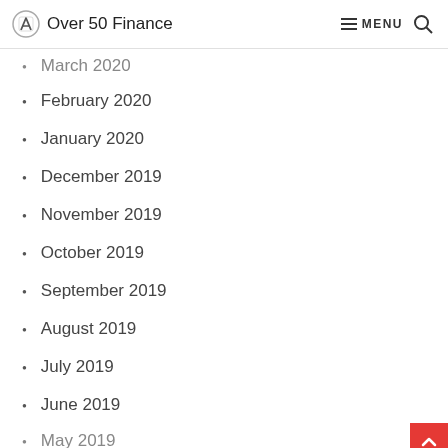Over 50 Finance  MENU
March 2020
February 2020
January 2020
December 2019
November 2019
October 2019
September 2019
August 2019
July 2019
June 2019
May 2019